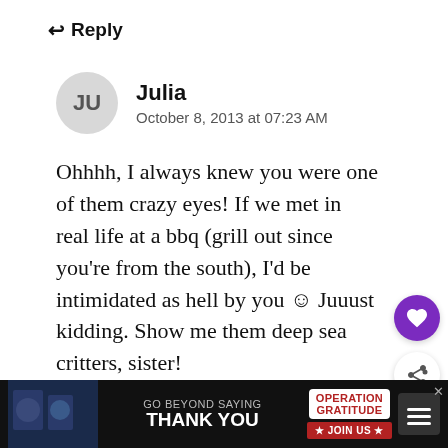↩ Reply
JU
Julia
October 8, 2013 at 07:23 AM
Ohhhh, I always knew you were one of them crazy eyes! If we met in real life at a bbq (grill out since you're from the south), I'd be intimidated as hell by you ☺ Juuust kidding. Show me them deep sea critters, sister!
Please come visit! Come visit yeste... We'll GF up the wazoo, ain't nothin to be
WHAT'S NEXT → Eggnog Bread with Boozy...
GO BEYOND SAYING THANK YOU